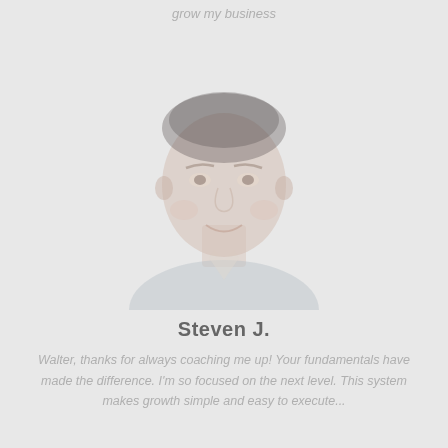grow my business
[Figure (photo): Faded portrait photo of a young Asian man smiling, wearing a light shirt and dark jacket, shown from shoulders up against a light background]
Steven J.
Walter, thanks for always coaching me up! Your fundamentals have made the difference. I'm so focused on the next level. This system makes growth simple and easy to execute...